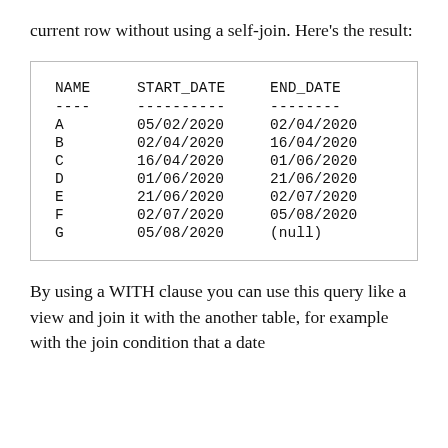current row without using a self-join. Here's the result:
| NAME | START_DATE | END_DATE |
| --- | --- | --- |
| A | 05/02/2020 | 02/04/2020 |
| B | 02/04/2020 | 16/04/2020 |
| C | 16/04/2020 | 01/06/2020 |
| D | 01/06/2020 | 21/06/2020 |
| E | 21/06/2020 | 02/07/2020 |
| F | 02/07/2020 | 05/08/2020 |
| G | 05/08/2020 | (null) |
By using a WITH clause you can use this query like a view and join it with the another table, for example with the join condition that a date